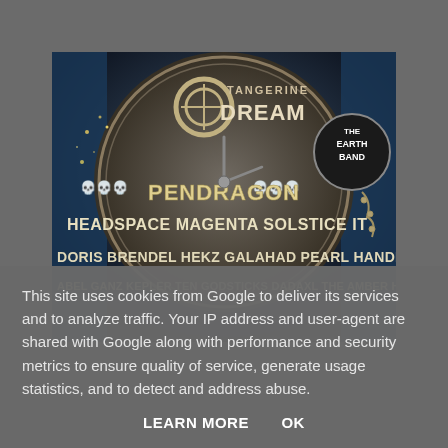[Figure (illustration): Concert/festival poster with steampunk clock background. Features band names: TANGERINE DREAM (top, large), THE EARTH BAND (top right), PENDRAGON (middle with skull decorations), HEADSPACE, MAGENTA, SOLSTICE, IT, DORIS BRENDEL, HEKZ, GALAHAD, PEARL HANDLED REVOLVER, ABEL GANZ, KEPLER TEN, GODSTICKS, DADAXL, THE AMBER HERD, APOSTLE]
This site uses cookies from Google to deliver its services and to analyze traffic. Your IP address and user-agent are shared with Google along with performance and security metrics to ensure quality of service, generate usage statistics, and to detect and address abuse.
LEARN MORE    OK